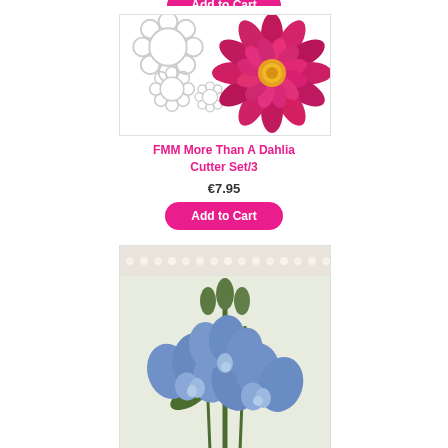[Figure (photo): Product image of FMM More Than A Dahlia Cutter Set/3 showing three white flower-shaped cutters and a pink dahlia flower on white background]
FMM More Than A Dahlia Cutter Set/3
€7.95
Add to Cart
[Figure (photo): Photo of blue lisianthus flowers with green stems and buds against a light background with decorative pearls]